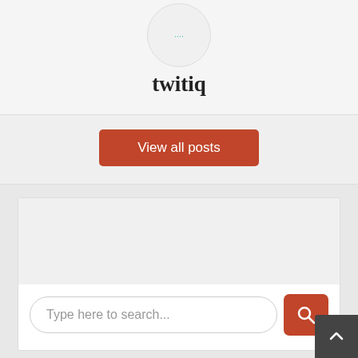twitiq
View all posts
[Figure (screenshot): Search bar with placeholder text 'Type here to search...' and a red search button with magnifying glass icon]
Google News Approved
[Figure (illustration): Google News Approved badge/seal partially visible at bottom of page]